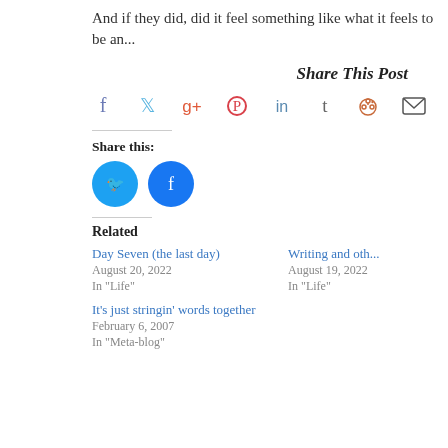And if they did, did it feel something like what it feels to be an...
Share This Post
[Figure (infographic): Social sharing icons: Facebook (purple), Twitter (cyan), Google+ (red-orange), Pinterest (red), LinkedIn (blue), Tumblr (dark gray), Reddit (orange), Email (dark gray envelope)]
Share this:
[Figure (infographic): Two circular share buttons: Twitter (blue bird icon) and Facebook (blue f icon)]
Related
Day Seven (the last day)
August 20, 2022
In "Life"
Writing and oth...
August 19, 2022
In "Life"
It's just stringin' words together
February 6, 2007
In "Meta-blog"